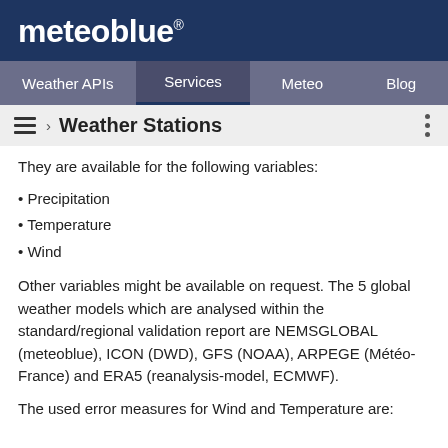meteoblue®
Weather APIs | Services | Meteo | Blog
≡ › Weather Stations
They are available for the following variables:
• Precipitation
• Temperature
• Wind
Other variables might be available on request. The 5 global weather models which are analysed within the standard/regional validation report are NEMSGLOBAL (meteoblue), ICON (DWD), GFS (NOAA), ARPEGE (Météo-France) and ERA5 (reanalysis-model, ECMWF).
The used error measures for Wind and Temperature are: